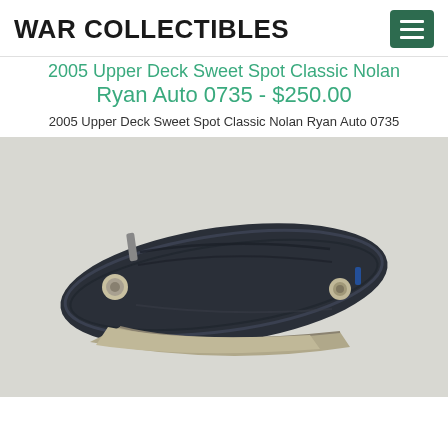WAR COLLECTIBLES
2005 Upper Deck Sweet Spot Classic Nolan Ryan Auto 0735 - $250.00
2005 Upper Deck Sweet Spot Classic Nolan Ryan Auto 0735
[Figure (photo): Photo of a closed folding knife with a dark blue/black textured handle and a partially visible stainless steel blade, shown from the side against a light gray background.]